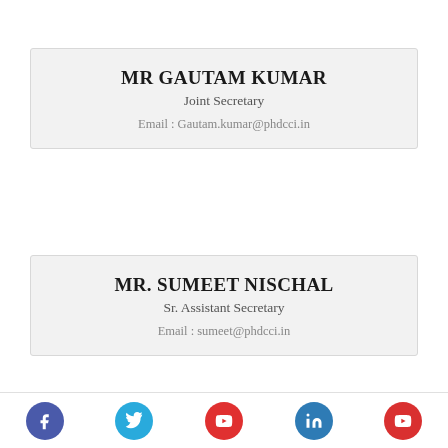MR GAUTAM KUMAR
Joint Secretary
Email : Gautam.kumar@phdcci.in
MR. SUMEET NISCHAL
Sr. Assistant Secretary
Email : sumeet@phdcci.in
Social media icons: Facebook, Twitter, YouTube, LinkedIn, YouTube